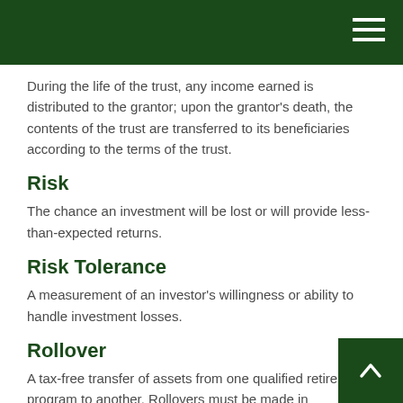During the life of the trust, any income earned is distributed to the grantor; upon the grantor’s death, the contents of the trust are transferred to its beneficiaries according to the terms of the trust.
Risk
The chance an investment will be lost or will provide less-than-expected returns.
Risk Tolerance
A measurement of an investor’s willingness or ability to handle investment losses.
Rollover
A tax-free transfer of assets from one qualified retirement program to another. Rollovers must be made in accordance with specific requirements to